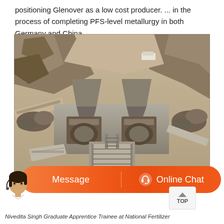positioning Glenover as a low cost producer. ... in the process of completing PFS-level metallurgy in both Germany and China.
[Figure (photo): Aerial view of an open-pit mining facility showing crushing/processing equipment, conveyor belts, concrete structures carved into rocky terrain, with a road and vehicle visible in the background.]
[Figure (other): Customer support chat bar with orange pill-shaped button containing 'Message' on the left and 'Online Chat' with a headset icon on the right, with a customer service agent avatar on the left.]
Nivedita Singh Graduate Apprentice Trainee at National Fertilizer